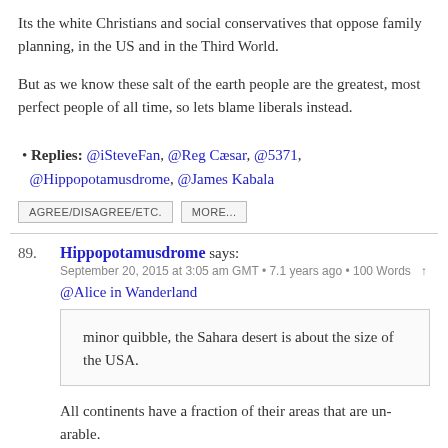Its the white Christians and social conservatives that oppose family planning, in the US and in the Third World.
But as we know these salt of the earth people are the greatest, most perfect people of all time, so lets blame liberals instead.
• Replies: @iSteveFan, @Reg Cæsar, @5371, @Hippopotamusdrome, @James Kabala
AGREE/DISAGREE/ETC.   MORE...
89. Hippopotamusdrome says: September 20, 2015 at 3:05 am GMT • 7.1 years ago • 100 Words ↑
@Alice in Wanderland
minor quibble, the Sahara desert is about the size of the USA.
All continents have a fraction of their areas that are un-arable.